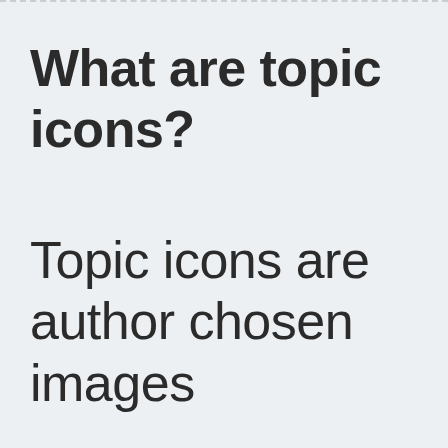What are topic icons?
Topic icons are author chosen images